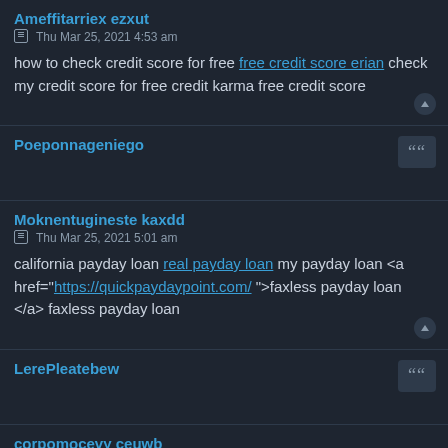Ameffitarriex ezxut
Thu Mar 25, 2021 4:53 am
how to check credit score for free free credit score erian check my credit score for free credit karma free credit score
Poeponnageniego
Moknentugineste kaxdd
Thu Mar 25, 2021 5:01 am
california payday loan real payday loan my payday loan <a href="https://quickpaydaypoint.com/ ">faxless payday loan </a> faxless payday loan
LerePleatebew
corpomocevy ceuwb
Thu Mar 25, 2021 5:05 am
credit score companies free business credit report does forbearance affect credit score one time free credit score